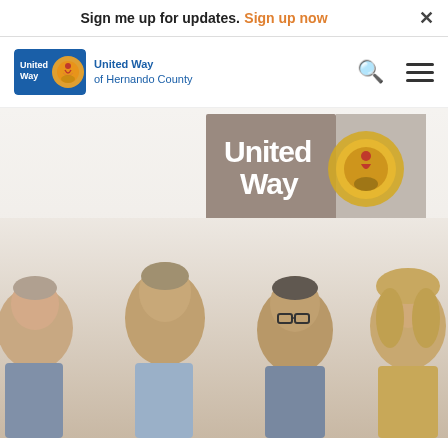Sign me up for updates. Sign up now
[Figure (logo): United Way of Hernando County logo with blue badge and circular emblem, navigation bar with search and hamburger menu icons]
[Figure (photo): Group photo of four people (two men and two women) standing in front of a United Way of Hernando County banner/backdrop showing the United Way logo and text UNITED WAY OF HERNANDO COUNTY]